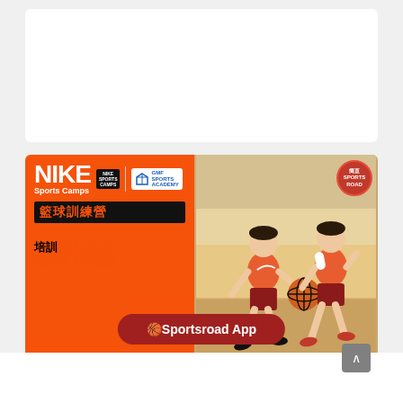[Figure (other): Top white card area (empty/blank white rectangle)]
[Figure (illustration): Nike Sports Camps basketball training camp advertisement banner. Left side has orange background with NIKE Sports Camps logo, GMF Sports Academy logo, Chinese text '籃球訓練營' on black bar, and Chinese text '培訓明日之星 現享折上折優惠'. Right side shows photo of two young children in orange Nike shirts playing basketball on a court.]
🏀Sportsroad App
Sportsroad TV